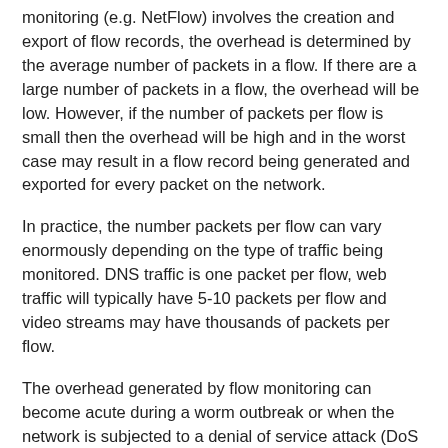monitoring (e.g. NetFlow) involves the creation and export of flow records, the overhead is determined by the average number of packets in a flow. If there are a large number of packets in a flow, the overhead will be low. However, if the number of packets per flow is small then the overhead will be high and in the worst case may result in a flow record being generated and exported for every packet on the network.
In practice, the number packets per flow can vary enormously depending on the type of traffic being monitored. DNS traffic is one packet per flow, web traffic will typically have 5-10 packets per flow and video streams may have thousands of packets per flow.
The overhead generated by flow monitoring can become acute during a worm outbreak or when the network is subjected to a denial of service attack (DoS attack). In both cases large numbers of single packet flows are created and the additional overhead created by flow monitoring is likely to exacerbate the problem. The impact of this increased measurement traffic on the network is made worse by the